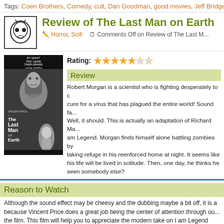Tags: Coen Brothers, Comedy, cult, Dan Goodman, good movies, Jeff Bridges
Review of The Last Man on Earth
Horror, Scifi   Comments Off on Review of The Last M...
[Figure (photo): Black and white movie poster for The Last Man on Earth featuring Vincent Price]
Rating: 7/10 stars
Review
Robert Morgan is a scientist who is fighting desperately to cure for a virus that has plagued the entire world! Sound fa... Well, it should. This is actually an adaptation of Richard Ma... am Legend. Morgan finds himself alone battling zombies by taking refuge in his reenforced home at night. It seems like his life will be lived in solitude. Then, one day, he thinks he seen somebody else?
Reason to Watch
Although the sound effect may be cheesy and the dubbing maybe a bit off, it is a... because Vincent Price does a great job being the center of attention through ou... the film. This film will help you to appreciate the modern take on I am Legend wi... moving too far away from the original novel.
Context